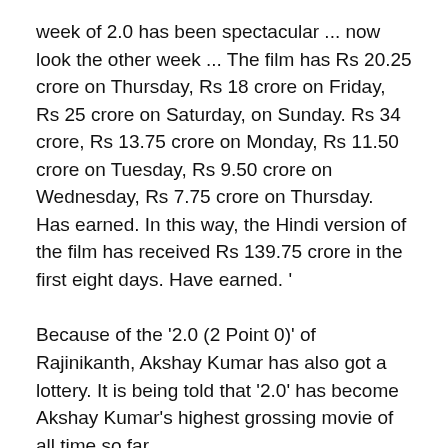week of 2.0 has been spectacular ... now look the other week ... The film has Rs 20.25 crore on Thursday, Rs 18 crore on Friday, Rs 25 crore on Saturday, on Sunday. Rs 34 crore, Rs 13.75 crore on Monday, Rs 11.50 crore on Tuesday, Rs 9.50 crore on Wednesday, Rs 7.75 crore on Thursday. Has earned. In this way, the Hindi version of the film has received Rs 139.75 crore in the first eight days. Have earned. '
Because of the '2.0 (2 Point 0)' of Rajinikanth, Akshay Kumar has also got a lottery. It is being told that '2.0' has become Akshay Kumar's highest grossing movie of all time so far.